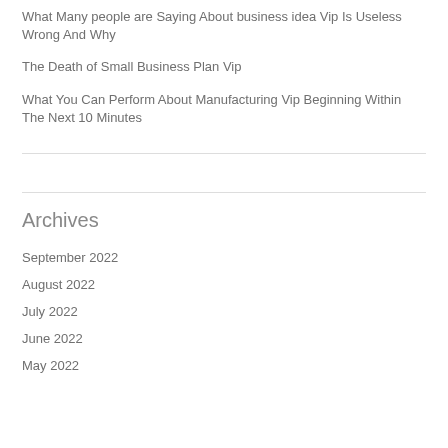What Many people are Saying About business idea Vip Is Useless Wrong And Why
The Death of Small Business Plan Vip
What You Can Perform About Manufacturing Vip Beginning Within The Next 10 Minutes
Archives
September 2022
August 2022
July 2022
June 2022
May 2022